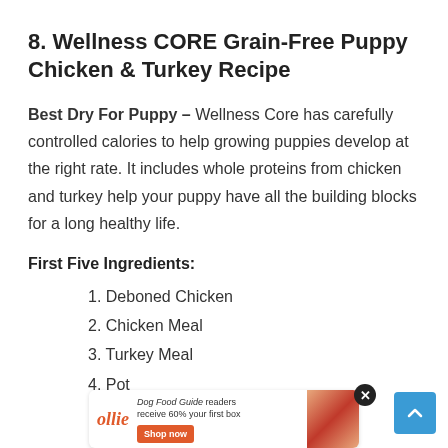8. Wellness CORE Grain-Free Puppy Chicken & Turkey Recipe
Best Dry For Puppy – Wellness Core has carefully controlled calories to help growing puppies develop at the right rate. It includes whole proteins from chicken and turkey help your puppy have all the building blocks for a long healthy life.
First Five Ingredients:
1. Deboned Chicken
2. Chicken Meal
3. Turkey Meal
4. Pot…